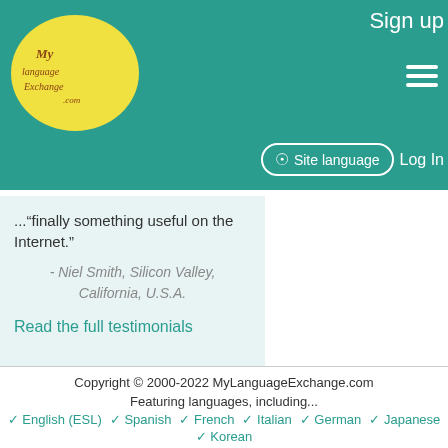[Figure (logo): MyLanguageExchange.com logo — yellow oval with stylized handwritten text on teal background]
Sign up  Site language  Log In
..."finally something useful on the Internet."
- Niel Smith, Silicon Valley, California, U.S.A.
Read the full testimonials
Copyright © 2000-2022 MyLanguageExchange.com
Featuring languages, including...
✓ English (ESL)  ✓ Spanish  ✓ French  ✓ Italian  ✓ German  ✓ Japanese
✓ Korean